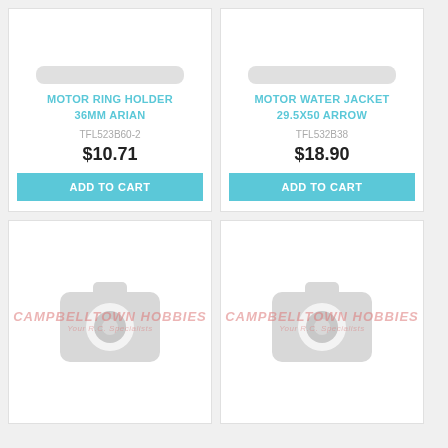[Figure (photo): Product image placeholder - camera icon with Campbeltown Hobbies watermark (top left card, partially cut off at top)]
MOTOR RING HOLDER 36MM ARIAN
TFL523B60-2
$10.71
ADD TO CART
[Figure (photo): Product image placeholder - camera icon with Campbeltown Hobbies watermark (top right card, partially cut off at top)]
MOTOR WATER JACKET 29.5X50 ARROW
TFL532B38
$18.90
ADD TO CART
[Figure (photo): Product image placeholder - camera icon with Campbeltown Hobbies watermark (bottom left card)]
[Figure (photo): Product image placeholder - camera icon with Campbeltown Hobbies watermark (bottom right card)]